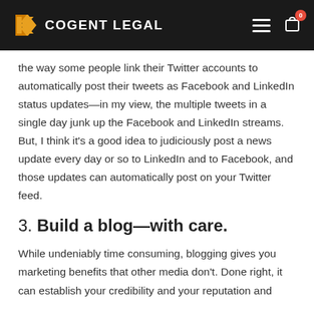COGENT LEGAL
the way some people link their Twitter accounts to automatically post their tweets as Facebook and LinkedIn status updates—in my view, the multiple tweets in a single day junk up the Facebook and LinkedIn streams. But, I think it's a good idea to judiciously post a news update every day or so to LinkedIn and to Facebook, and those updates can automatically post on your Twitter feed.
3. Build a blog—with care.
While undeniably time consuming, blogging gives you marketing benefits that other media don't. Done right, it can establish your credibility and your reputation and